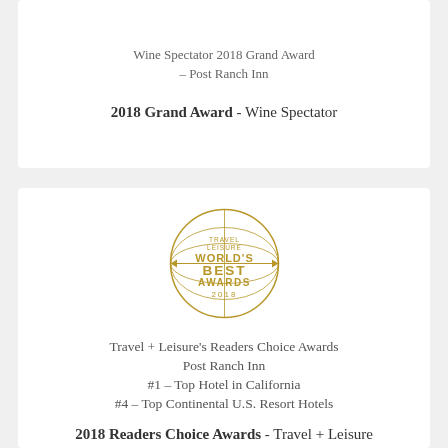Wine Spectator 2018 Grand Award – Post Ranch Inn
2018 Grand Award - Wine Spectator
[Figure (logo): Travel + Leisure World's Best Awards 2018 circular badge/logo in gold color featuring a globe graphic with arrows and text]
Travel + Leisure's Readers Choice Awards
Post Ranch Inn
#1 – Top Hotel in California
#4 – Top Continental U.S. Resort Hotels
2018 Readers Choice Awards - Travel + Leisure